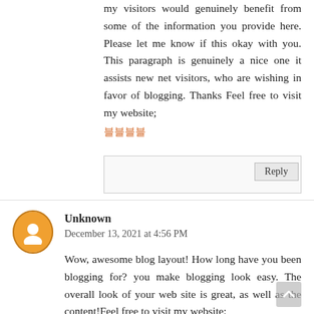my visitors would genuinely benefit from some of the information you provide here. Please let me know if this okay with you. This paragraph is genuinely a nice one it assists new net visitors, who are wishing in favor of blogging. Thanks Feel free to visit my website;
블블블블
Reply
Unknown
December 13, 2021 at 4:56 PM
Wow, awesome blog layout! How long have you been blogging for? you make blogging look easy. The overall look of your web site is great, as well as the content!Feel free to visit my website;